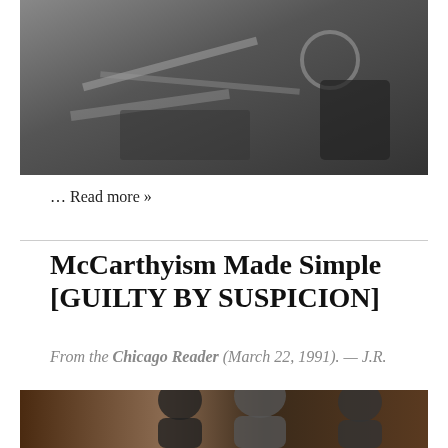[Figure (photo): Black and white photograph showing a messy surface with papers and objects, possibly a desk or bedside scene]
… Read more »
McCarthyism Made Simple [GUILTY BY SUSPICION]
From the Chicago Reader (March 22, 1991). — J.R.
[Figure (photo): Color photograph showing three people, two men and a woman in a dramatic scene]